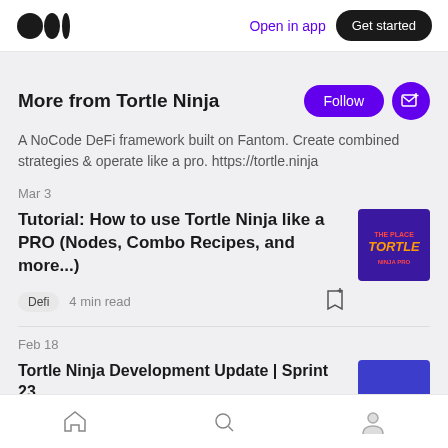Medium logo | Open in app | Get started
More from Tortle Ninja
A NoCode DeFi framework built on Fantom. Create combined strategies & operate like a pro. https://tortle.ninja
Mar 3
Tutorial: How to use Tortle Ninja like a PRO (Nodes, Combo Recipes, and more...)
Defi  4 min read
[Figure (photo): Tortle Ninja article thumbnail - purple background with game-style logo]
Feb 18
Tortle Ninja Development Update | Sprint 23
[Figure (photo): Blue/purple rectangular thumbnail]
Home | Search | Profile